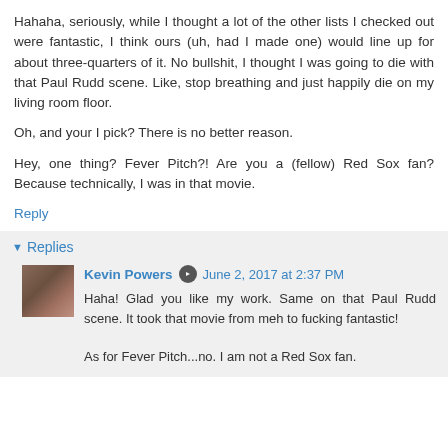Hahaha, seriously, while I thought a lot of the other lists I checked out were fantastic, I think ours (uh, had I made one) would line up for about three-quarters of it. No bullshit, I thought I was going to die with that Paul Rudd scene. Like, stop breathing and just happily die on my living room floor.
Oh, and your I pick? There is no better reason.
Hey, one thing? Fever Pitch?! Are you a (fellow) Red Sox fan? Because technically, I was in that movie.
Reply
Replies
Kevin Powers  June 2, 2017 at 2:37 PM
Haha! Glad you like my work. Same on that Paul Rudd scene. It took that movie from meh to fucking fantastic!
As for Fever Pitch...no. I am not a Red Sox fan.